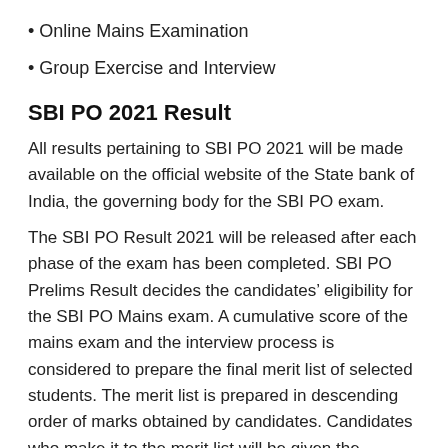• Online Mains Examination
• Group Exercise and Interview
SBI PO 2021 Result
All results pertaining to SBI PO 2021 will be made available on the official website of the State bank of India, the governing body for the SBI PO exam.
The SBI PO Result 2021 will be released after each phase of the exam has been completed. SBI PO Prelims Result decides the candidates' eligibility for the SBI PO Mains exam. A cumulative score of the mains exam and the interview process is considered to prepare the final merit list of selected students. The merit list is prepared in descending order of marks obtained by candidates. Candidates who make it to the merit list will be given the appointment letter by the Bank of Candidate's choice.
SBI PO Final Result